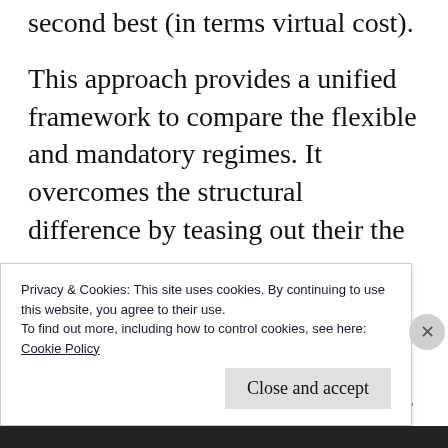second best (in terms virtual cost).
This approach provides a unified framework to compare the flexible and mandatory regimes. It overcomes the structural difference by teasing out their the common core.
There are two caveats, though. First, in the flexible regime the agent decides production, whereas in the mandatory regime the principal decides. Second,
Privacy & Cookies: This site uses cookies. By continuing to use this website, you agree to their use.
To find out more, including how to control cookies, see here:
Cookie Policy
Close and accept